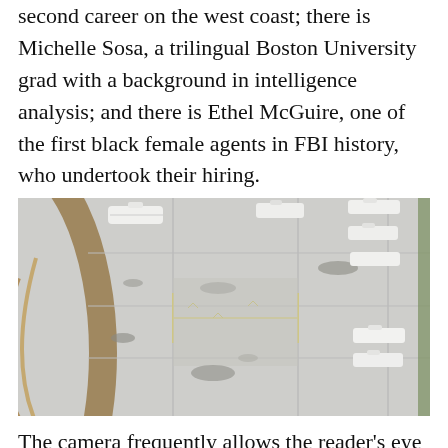second career on the west coast; there is Michelle Sosa, a trilingual Boston University grad with a background in intelligence analysis; and there is Ethel McGuire, one of the first black female agents in FBI history, who undertook their hiring.
[Figure (photo): Aerial satellite view of an airport tarmac with aircraft parking stands, taxiways, and a curved road or runway edge visible on the left. The image shows a top-down perspective of concrete aprons with aircraft and ground markings.]
The camera frequently allows the reader's eye to roam f